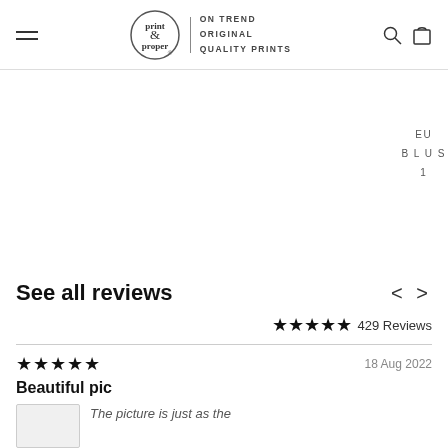[Figure (logo): Print & Proper logo with circle, ampersand, tagline ON TREND ORIGINAL QUALITY PRINTS, hamburger menu, search and bag icons]
EU
BLUS
1
See all reviews
★★★★★ 429 Reviews
★★★★★  18 Aug 2022
Beautiful pic
The picture is just as the